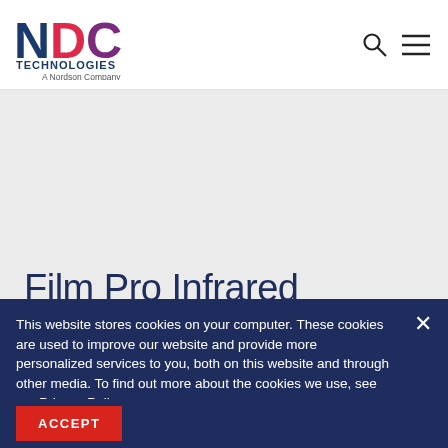[Figure (logo): NDC Technologies logo - A Nordson Company, with N in dark blue, D in red/pink, C in purple, and TECHNOLOGIES text in dark blue]
Film Pro Infrared
This website stores cookies on your computer. These cookies are used to improve our website and provide more personalized services to you, both on this website and through other media. To find out more about the cookies we use, see our Privacy Policy
ACCEPT